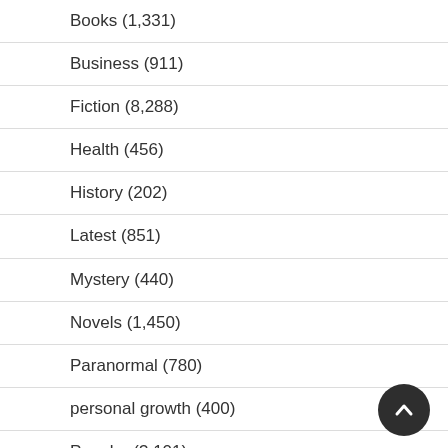Books (1,331)
Business (911)
Fiction (8,288)
Health (456)
History (202)
Latest (851)
Mystery (440)
Novels (1,450)
Paranormal (780)
personal growth (400)
Popular (3,101)
Recommend (186)
Romance (6,618)